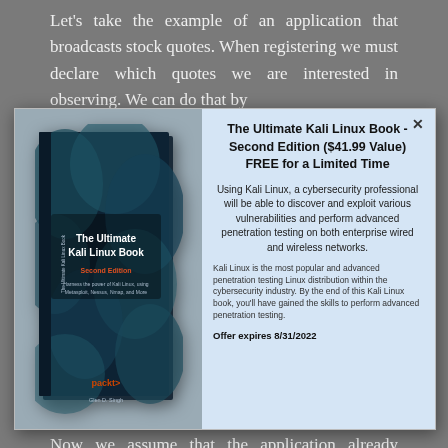Let's take the example of an application that broadcasts stock quotes. When registering we must declare which quotes we are interested in observing. We can do that by
[Figure (screenshot): A modal popup advertisement for 'The Ultimate Kali Linux Book - Second Edition ($41.99 Value) FREE for a Limited Time'. Left side shows the book cover with dark blue/teal leaf imagery. Right side contains title, description text about Kali Linux cybersecurity capabilities, and 'Offer expires 8/31/2022'. Close button (x) in top right corner.]
Now we assume that the application already broadcasts standard sets of popular tickers on messaging topics, and each topic has its own predicates; if it could detect that the predicate we want to use is «included» or